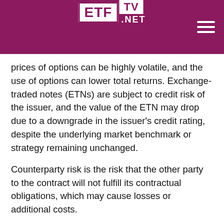ETF TV .NET
prices of options can be highly volatile, and the use of options can lower total returns. Exchange-traded notes (ETNs) are subject to credit risk of the issuer, and the value of the ETN may drop due to a downgrade in the issuer's credit rating, despite the underlying market benchmark or strategy remaining unchanged.
Counterparty risk is the risk that the other party to the contract will not fulfill its contractual obligations, which may cause losses or additional costs.
Leverage created from borrowing or certain types of transactions or instruments may impair liquidity, cause positions to be liquidated at an unfavorable time, lose more than the amount invested, or increase volatility.